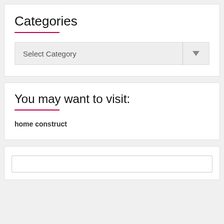Categories
[Figure (screenshot): A dropdown UI element labeled 'Select Category' with a downward arrow on the right side]
You may want to visit:
home construct
[Figure (screenshot): A partial card section with a text input/search box at the bottom]